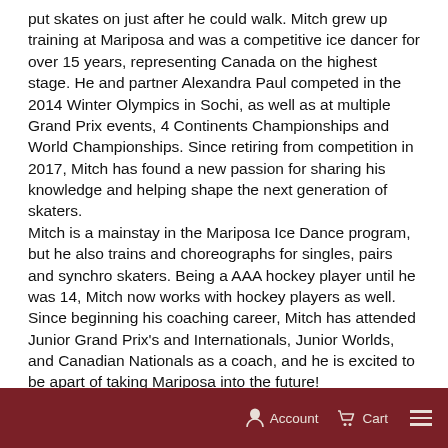put skates on just after he could walk. Mitch grew up training at Mariposa and was a competitive ice dancer for over 15 years, representing Canada on the highest stage. He and partner Alexandra Paul competed in the 2014 Winter Olympics in Sochi, as well as at multiple Grand Prix events, 4 Continents Championships and World Championships. Since retiring from competition in 2017, Mitch has found a new passion for sharing his knowledge and helping shape the next generation of skaters. Mitch is a mainstay in the Mariposa Ice Dance program, but he also trains and choreographs for singles, pairs and synchro skaters. Being a AAA hockey player until he was 14, Mitch now works with hockey players as well. Since beginning his coaching career, Mitch has attended Junior Grand Prix's and Internationals, Junior Worlds, and Canadian Nationals as a coach, and he is excited to be apart of taking Mariposa into the future! Competitive accomplishments:
Account  Cart